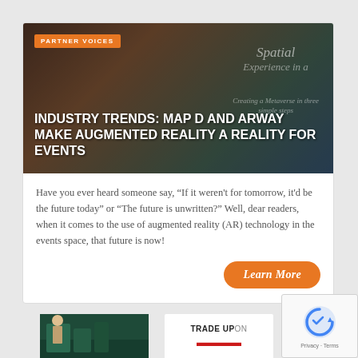[Figure (photo): Hero image showing a person at an event, with 'PARTNER VOICES' badge and article title overlay. Background shows blurred event/expo environment. Watermark text 'Spatial Experience in a Creating a Metaverse in three simple steps' visible on right side.]
INDUSTRY TRENDS: MAP D AND ARWAY MAKE AUGMENTED REALITY A REALITY FOR EVENTS
Have you ever heard someone say, “If it weren't for tomorrow, it'd be the future today” or “The future is unwritten?” Well, dear readers, when it comes to the use of augmented reality (AR) technology in the events space, that future is now!
Learn More
[Figure (photo): Two advertisement images at bottom of page. Left: dark green background image. Right: 'TRADE UP ON' with red text below.]